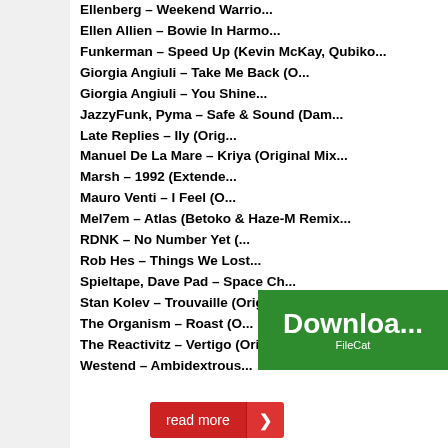Ellenberg – Weekend Warrio...
Ellen Allien – Bowie In Harmo...
Funkerman – Speed Up (Kevin McKay, Qubiko...
Giorgia Angiuli – Take Me Back (O...
Giorgia Angiuli – You Shine...
JazzyFunk, Pyma – Safe & Sound (Dam...
Late Replies – Ily (Orig...
Manuel De La Mare – Kriya (Original Mix...
Marsh – 1992 (Extende...
Mauro Venti – I Feel (O...
Mel7em – Atlas (Betoko & Haze-M Remix...
RDNK – No Number Yet (...
Rob Hes – Things We Lost...
Spieltape, Dave Pad – Space Ch...
Stan Kolev – Trouvaille (Original Mix)...
The Organism – Roast (O...
The Reactivitz – Vertigo (Original Mix)...
Westend – Ambidextrous...
[Figure (screenshot): Green download button with FileCat text]
read more >